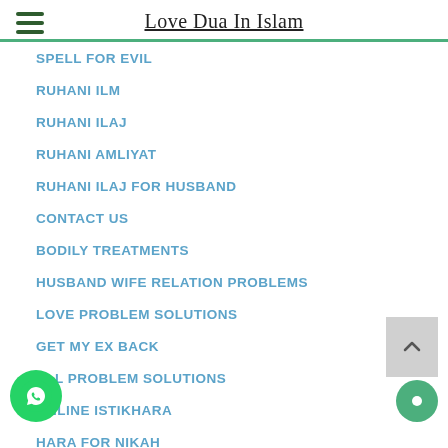Love Dua In Islam
SPELL FOR EVIL
RUHANI ILM
RUHANI ILAJ
RUHANI AMLIYAT
RUHANI ILAJ FOR HUSBAND
CONTACT US
BODILY TREATMENTS
HUSBAND WIFE RELATION PROBLEMS
LOVE PROBLEM SOLUTIONS
GET MY EX BACK
ALL PROBLEM SOLUTIONS
ONLINE ISTIKHARA
HARA FOR NIKAH
for childless couples
ISLAMIC DUA FOR LOVE